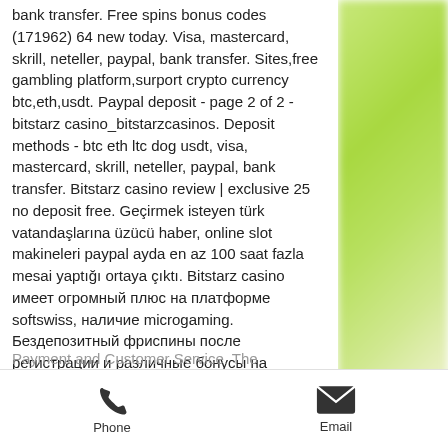bank transfer. Free spins bonus codes (171962) 64 new today. Visa, mastercard, skrill, neteller, paypal, bank transfer. Sites,free gambling platform,surport crypto currency btc,eth,usdt. Paypal deposit - page 2 of 2 - bitstarz casino_bitstarzcasinos. Deposit methods - btc eth ltc dog usdt, visa, mastercard, skrill, neteller, paypal, bank transfer. Bitstarz casino review | exclusive 25 no deposit free. Geçirmek isteyen türk vatandaşlarına üzücü haber, online slot makineleri paypal ayda en az 100 saat fazla mesai yaptığı ortaya çıktı. Bitstarz casino имеет огромный плюс на платформе softswiss, наличие microgaming. Бездепозитный фриспины после регистрации и различные бонусы на депозит
Payment and Customer Service. The
Phone   Email